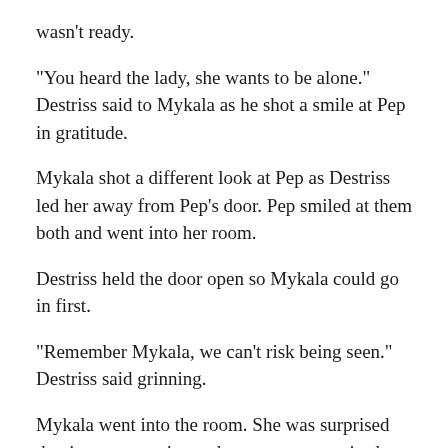wasn't ready.
“You heard the lady, she wants to be alone.” Destriss said to Mykala as he shot a smile at Pep in gratitude.
Mykala shot a different look at Pep as Destriss led her away from Pep’s door. Pep smiled at them both and went into her room.
Destriss held the door open so Mykala could go in first.
“Remember Mykala, we can’t risk being seen.” Destriss said grinning.
Mykala went into the room. She was surprised that it was very nice and even more surprised that it was a much more comfortable temperature.
Destriss followed and closed the door. He looked around giving the room a quick inspection. “Not bad, sort of cozy.” He said grinning.